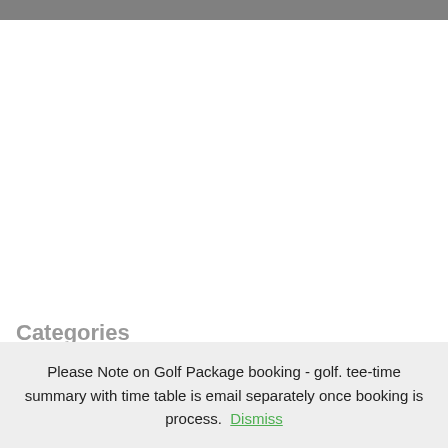Categories
Please Note on Golf Package booking - golf. tee-time summary with time table is email separately once booking is process. Dismiss